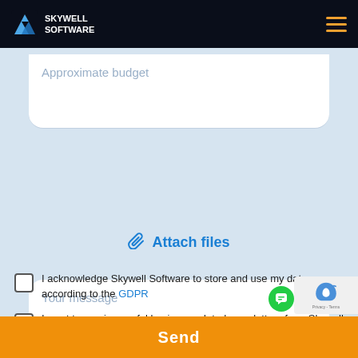[Figure (logo): Skywell Software logo with blue icon on dark header bar with hamburger menu icon]
Approximate budget
Your message
Attach files
I acknowledge Skywell Software to store and use my data according to the GDPR
I want to receive useful business related newsletters from Skywell Software.
Send